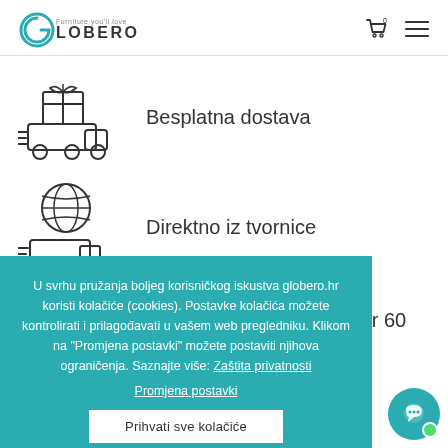[Figure (logo): Globero furniture brand logo with circular G and text 'Furniture you'll love GLOBERO']
[Figure (illustration): Free delivery icon - gift on delivery truck with speed lines]
Besplatna dostava
[Figure (illustration): Direct from factory icon - globe with delivery truck]
Direktno iz tvornice
[Figure (illustration): Calendar icon partially visible]
Mogućnost povrata unutar 60 dana
U svrhu pružanja boljeg korisničkog iskustva globero.hr koristi kolačiće (cookies). Postavke kolačića možete kontrolirati i prilagođavati u vašem web pregledniku. Klikom na "Promjena postavki" možete postaviti njihova ograničenja. Saznajte više: Zaštita privatnosti     Promjena postavki
Prihvati sve kolačiće